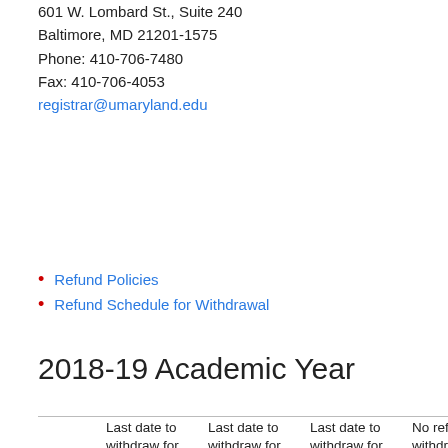601 W. Lombard St., Suite 240
Baltimore, MD 21201-1575
Phone: 410-706-7480
Fax: 410-706-4053
registrar@umaryland.edu
Refund Policies
Refund Schedule for Withdrawal
2018-19 Academic Year
|  | Last date to withdraw for 90 percent refund: | Last date to withdraw for 50 percent refund: | Last date to withdraw for 25 percent refund: | No refund for withdrawing on or after this date: |
| --- | --- | --- | --- | --- |
| Summer 2018 | June 5, 2018 | June 14, 2018 | June 28, 2018 | June 29, 2018 |